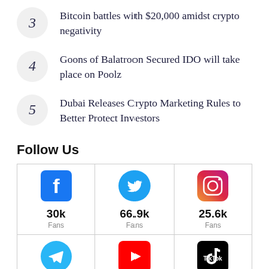3 Bitcoin battles with $20,000 amidst crypto negativity
4 Goons of Balatroon Secured IDO will take place on Poolz
5 Dubai Releases Crypto Marketing Rules to Better Protect Investors
Follow Us
| Facebook | Twitter | Instagram |
| --- | --- | --- |
| 30k Fans | 66.9k Fans | 25.6k Fans |
| 17.4k | 13.2k | 3.4k |